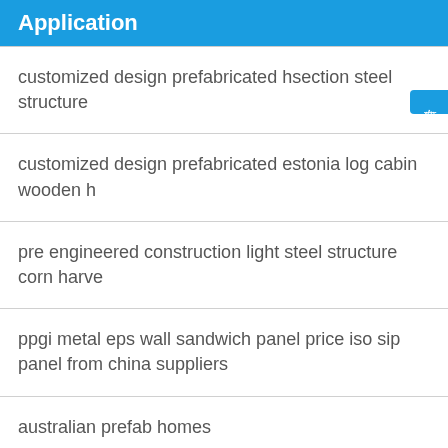Application
customized design prefabricated hsection steel structure
customized design prefabricated estonia log cabin wooden h
pre engineered construction light steel structure corn harve
ppgi metal eps wall sandwich panel price iso sip panel from china suppliers
australian prefab homes
moveable chicken slaughter machine poultry slaughter line